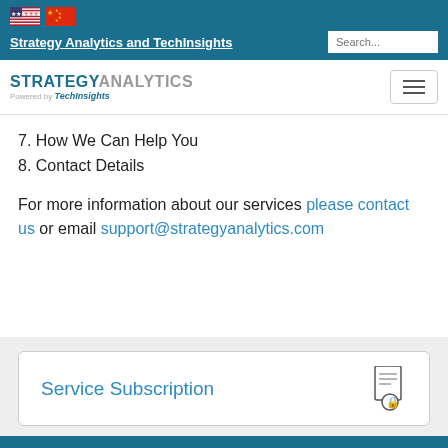Strategy Analytics and TechInsights
[Figure (logo): Strategy Analytics powered by TechInsights logo with hamburger menu]
7. How We Can Help You
8. Contact Details
For more information about our services please contact us or email support@strategyanalytics.com
Service Subscription